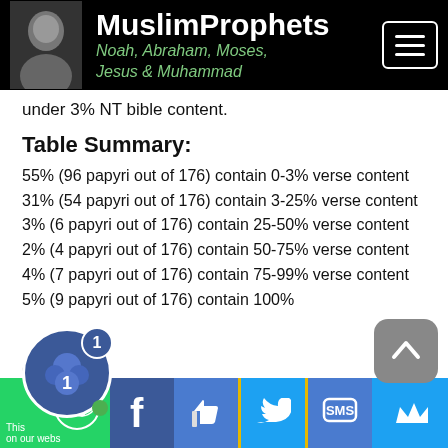MuslimProphets — Noah, Abraham, Moses, Jesus & Muhammad
under 3% NT bible content.
Table Summary:
55% (96 papyri out of 176) contain 0-3% verse content
31% (54 papyri out of 176) contain 3-25% verse content
3% (6 papyri out of 176) contain 25-50% verse content
2% (4 papyri out of 176) contain 50-75% verse content
4% (7 papyri out of 176) contain 75-99% verse content
5% (9 papyri out of 176) contain 100%
CREDIT
http://en.wikipedia.org/wiki/Biblical_manuscript